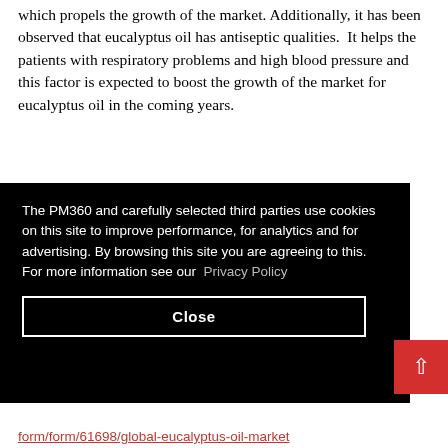which propels the growth of the market. Additionally, it has been observed that eucalyptus oil has antiseptic qualities. It helps the patients with respiratory problems and high blood pressure and this factor is expected to boost the growth of the market for eucalyptus oil in the coming years.
The PM360 and carefully selected third parties use cookies on this site to improve performance, for analytics and for advertising. By browsing this site you are agreeing to this. For more information see our Privacy Policy
Close
make hat yptus rs and profit e
form/form/61698/global-eucalyptus-oil-market